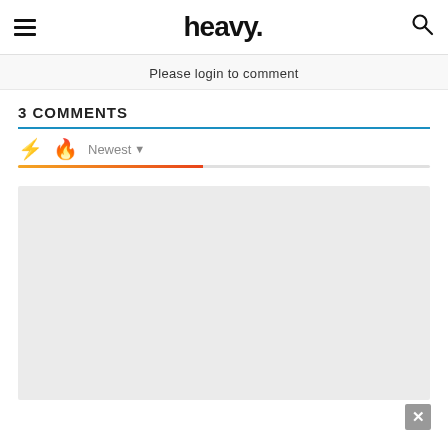heavy.
Please login to comment
3 COMMENTS
Newest
[Figure (other): Advertisement placeholder gray box with close button]